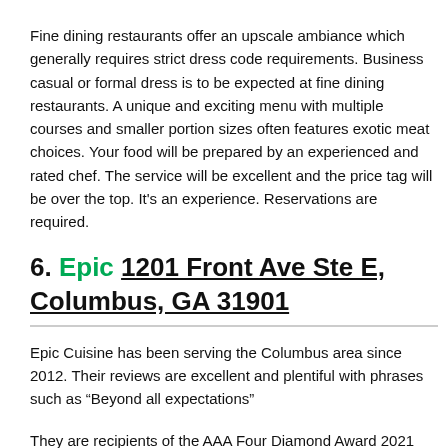Fine dining restaurants offer an upscale ambiance which generally requires strict dress code requirements. Business casual or formal dress is to be expected at fine dining restaurants. A unique and exciting menu with multiple courses and smaller portion sizes often features exotic meat choices. Your food will be prepared by an experienced and rated chef. The service will be excellent and the price tag will be over the top. It’s an experience. Reservations are required.
6. Epic 1201 Front Ave Ste E, Columbus, GA 31901
Epic Cuisine has been serving the Columbus area since 2012. Their reviews are excellent and plentiful with phrases such as “Beyond all expectations”
They are recipients of the AAA Four Diamond Award 2021 and the TripAdvisor Certificate of Excellence...